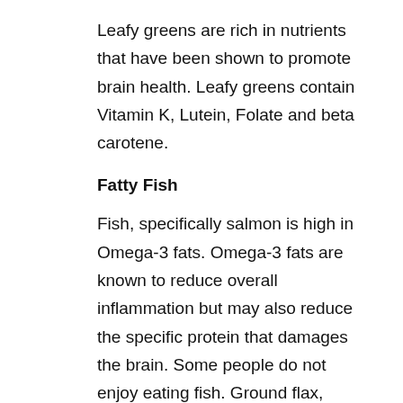Leafy greens are rich in nutrients that have been shown to promote brain health. Leafy greens contain Vitamin K, Lutein, Folate and beta carotene.
Fatty Fish
Fish, specifically salmon is high in Omega-3 fats. Omega-3 fats are known to reduce overall inflammation but may also reduce the specific protein that damages the brain. Some people do not enjoy eating fish. Ground flax, chia, pumpkin seeds, avocados and walnuts are also sources of Omega-3